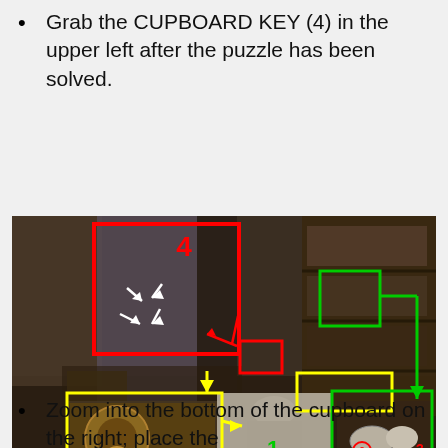Grab the CUPBOARD KEY (4) in the upper left after the puzzle has been solved.
[Figure (screenshot): Game screenshot of a Victorian-style room with annotated numbered markers (1-4) and colored rectangles (red, green, yellow) highlighting interactive items including a cupboard key area (4, red box upper left), clothing item (1, yellow box center), shelf items (2,3, green box lower right), and a green box on upper right bookcase.]
Zoom into the bottom of the cupboard on the right; place the